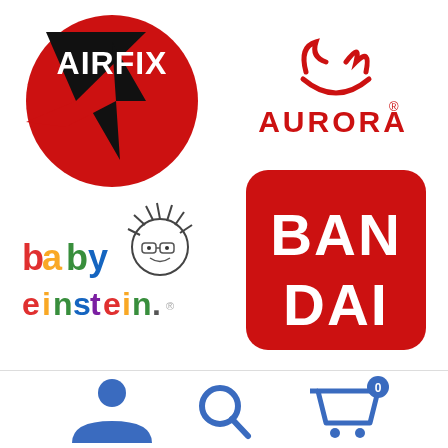[Figure (logo): Airfix logo: red circle with black triangle and lightning bolt, text AIRFIX in black]
[Figure (logo): Aurora logo: red heart/flame icon above red text AURORA with registered trademark]
[Figure (logo): Baby Einstein logo: colorful text 'baby einstein' with cartoon child face illustration]
[Figure (logo): Bandai logo: red rounded rectangle with white text BAN DAI]
[Figure (infographic): Mobile app footer bar with person icon, search icon, and shopping cart icon with badge 0]